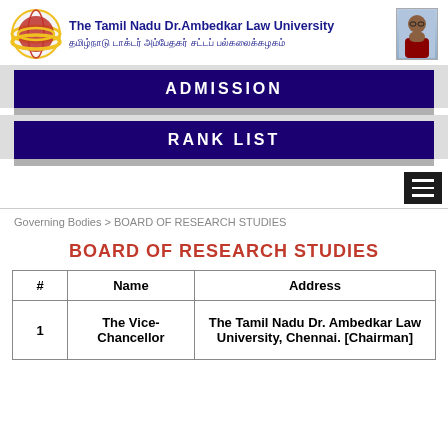The Tamil Nadu Dr.Ambedkar Law University
ADMISSION
RANK LIST
Governing Bodies > BOARD OF RESEARCH STUDIES
BOARD OF RESEARCH STUDIES
| # | Name | Address |
| --- | --- | --- |
| 1 | The Vice-Chancellor | The Tamil Nadu Dr. Ambedkar Law University, Chennai. [Chairman] |